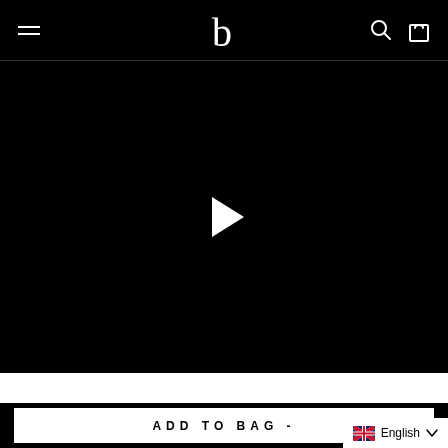Navigation bar with hamburger menu, logo 'b', search icon, and bag icon
[Figure (screenshot): Black video player area with a white play button triangle in the center]
ADD TO BAG -
English